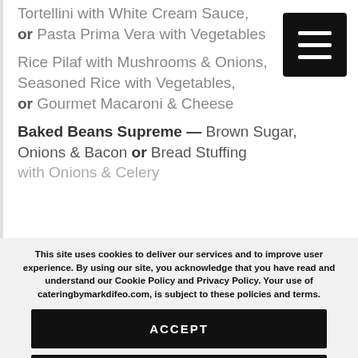Tortellini with White Cream Sauce, or Pasta Prima Vera with Vegetables
Rice Pilaf with Mushrooms & Onions, Seasoned Rice with Vegetables, or Gourmet Macaroni & Cheese
Baked Beans Supreme — Brown Sugar, Onions & Bacon or Bread Stuffing with Onions & Celery
[Figure (other): Hamburger menu icon button (three horizontal white lines on black square background)]
This site uses cookies to deliver our services and to improve user experience. By using our site, you acknowledge that you have read and understand our Cookie Policy and Privacy Policy. Your use of cateringbymarkdifeo.com, is subject to these policies and terms.
ACCEPT
PRIVACY POLICY